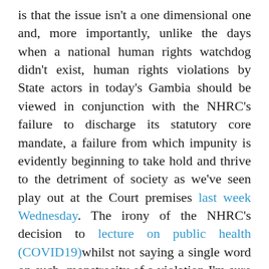is that the issue isn't a one dimensional one and, more importantly, unlike the days when a national human rights watchdog didn't exist, human rights violations by State actors in today's Gambia should be viewed in conjunction with the NHRC's failure to discharge its statutory core mandate, a failure from which impunity is evidently beginning to take hold and thrive to the detriment of society as we've seen play out at the Court premises last week Wednesday. The irony of the NHRC's decision to lecture on public health (COVID19)whilst not saying a single word on such monstrosity of a violation I'm sure inspires so much confidence.

For someone who belonged to the